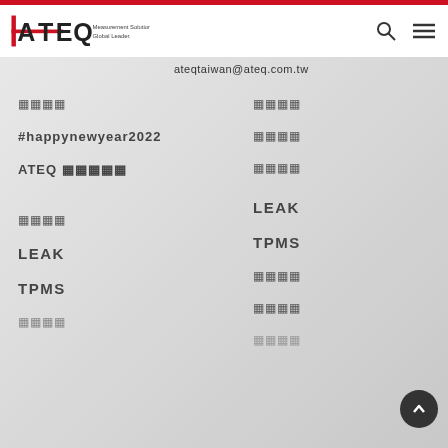ATEQ - Measurement Solutions Global Leader
〒〒〒ateqtaiwan@ateq.com.tw
〒〒〒〒
〒〒〒〒
#happynewyear2022
〒〒〒〒
ATEQ 〒〒〒〒〒
〒〒〒〒
LEAK
TPMS
〒〒〒〒
〒〒〒〒
LEAK
〒〒〒〒
TPMS
〒〒〒〒
〒〒〒〒
〒〒〒〒